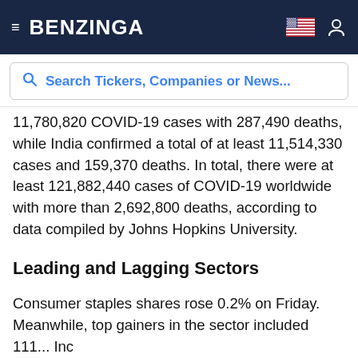BENZINGA
11,780,820 COVID-19 cases with 287,490 deaths, while India confirmed a total of at least 11,514,330 cases and 159,370 deaths. In total, there were at least 121,882,440 cases of COVID-19 worldwide with more than 2,692,800 deaths, according to data compiled by Johns Hopkins University.
Leading and Lagging Sectors
Consumer staples shares rose 0.2% on Friday. Meanwhile, top gainers in the sector included 111...